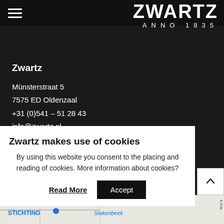ZWARTZ ANNO 1835
Zwartz
Münsterstraat 5
7575 ED Oldenzaal
+31 (0)541 – 51 28 43
info@zwartz.nl
General
Zwartz makes use of cookies
By using this website you consent to the placing and reading of cookies. More information about cookies?
Read More   Accept
[Figure (map): Google Maps partial view showing Oldenzaal area with labels STICHTING and Stakenbeek]